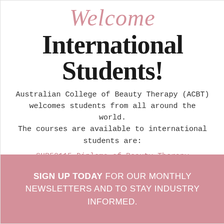Welcome
International Students!
Australian College of Beauty Therapy (ACBT) welcomes students from all around the world. The courses are available to international students are:
SHB50115 Diploma of Beauty Therapy
SIGN UP TODAY FOR OUR MONTHLY NEWSLETTERS AND TO STAY INDUSTRY INFORMED.